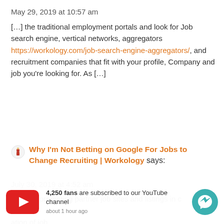May 29, 2019 at 10:57 am
[…] the traditional employment portals and look for Job search engine, vertical networks, aggregators https://workology.com/job-search-engine-aggregators/, and recruitment companies that fit with your profile, Company and job you’re looking for. As […]
Why I’m Not Betting on Google For Jobs to Change Recruiting | Workology says:
July 30, 2019 at 4:52 am
[…] and promoting partner job sites and listings in c[…] ation of job […] ors risen to prominence and yet with their success
[Figure (infographic): YouTube subscription popup showing 4,250 fans subscribed to YouTube channel, about 1 hour ago, with YouTube play button icon on left and Messenger chat button on right]